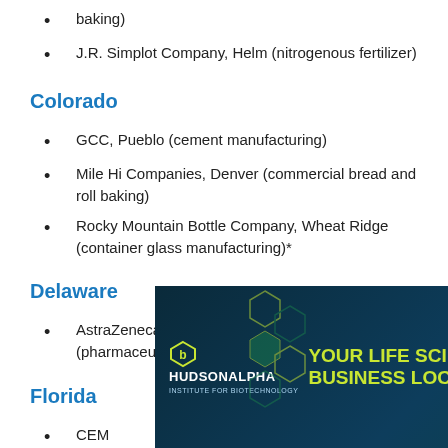baking)
J.R. Simplot Company, Helm (nitrogenous fertilizer)
Colorado
GCC, Pueblo (cement manufacturing)
Mile Hi Companies, Denver (commercial bread and roll baking)
Rocky Mountain Bottle Company, Wheat Ridge (container glass manufacturing)*
Delaware
AstraZeneca Pharmaceuticals, Newark (pharmaceutical)
Florida
CEM...
Flowe... and roll baking...
[Figure (advertisement): HudsonAlpha Institute for Biotechnology advertisement with tagline 'Your Life Sciences Business Location' and 'Learn More' CTA button]